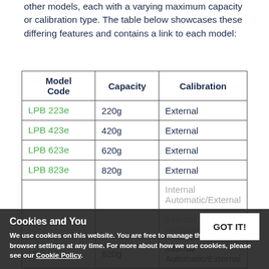other models, each with a varying maximum capacity or calibration type. The table below showcases these differing features and contains a link to each model:
| Model Code | Capacity | Calibration |
| --- | --- | --- |
| LPB 223e | 220g | External |
| LPB 423e | 420g | External |
| LPB 623e | 620g | External |
| LPB 823e | 820g | External |
| LPB 323i | 300g | Internal Automatic/External |
| LPB 423i | 420g | Internal Automatic/External |
| LPB 623i | 620g | Internal Automatic/External |
Cookies and You
We use cookies on this website. You are free to manage these via your browser settings at any time. For more about how we use cookies, please see our Cookie Policy.